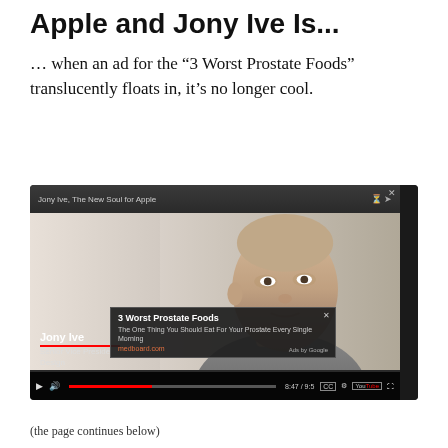Apple and Jony Ive Is...
… when an ad for the “3 Worst Prostate Foods” translucently floats in, it’s no longer cool.
[Figure (screenshot): Screenshot of a YouTube video titled 'Jony Ive, The New Soul for Apple' showing Jony Ive (Senior Vice President, Design) with a pop-up ad overlay reading '3 Worst Prostate Foods – The One Thing You Should Eat For Your Prostate Every Single Morning – medboard.com – Ads by Google']
(the page continues below)